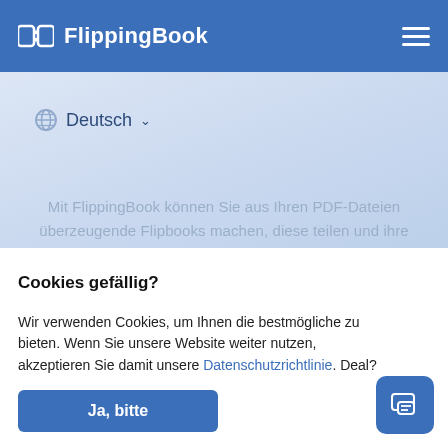FlippingBook
Deutsch
Mit FlippingBook können Sie aus Ihren PDF-Dateien überzeugende Flipbooks machen, diese teilen und ihre Nutzung nachverfolgen.
Folgen Sie uns:
Cookies gefällig?
Wir verwenden Cookies, um Ihnen die bestmögliche zu bieten. Wenn Sie unsere Website weiter nutzen, akzeptieren Sie damit unsere Datenschutzrichtlinie. Deal?